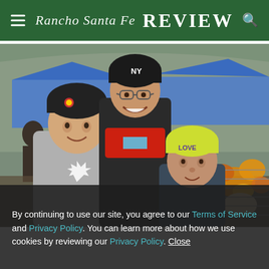Rancho Santa Fe Review
[Figure (photo): Outdoor autumn festival scene showing three people posing for a photo: a child on the left in a gray hoodie with a maple leaf, a woman in the center wearing a black NY Yankees beanie, glasses, and red scarf, and a younger child on the right in a yellow 'LOVE' beanie. Blue canopy tents, autumn leaf decorations, and other festival-goers are visible in the background.]
By continuing to use our site, you agree to our Terms of Service and Privacy Policy. You can learn more about how we use cookies by reviewing our Privacy Policy. Close